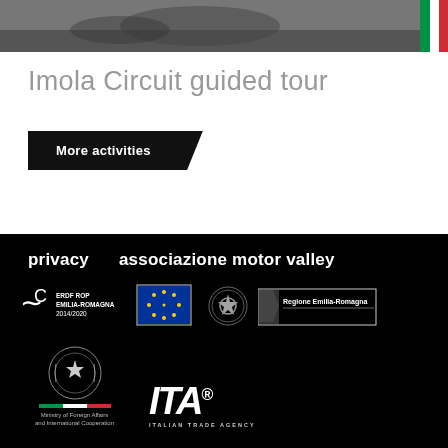[Figure (photo): Top portion of a racing circuit photo showing a car on track with Italian flag colors stripe on right side]
Imola Circuit guided tour
More activities
privacy   associazione motor valley
[Figure (logo): ERDF ROP Emilia-Romagna 2014/2020 logo]
[Figure (logo): European Union European Regional Development Fund logo]
[Figure (logo): Italian Republic emblem]
[Figure (logo): Regione Emilia-Romagna logo]
[Figure (logo): Ministry of Foreign Affairs and International Cooperation emblem with Italian tricolor stripe]
[Figure (logo): ITA Italian Trade Agency logo]